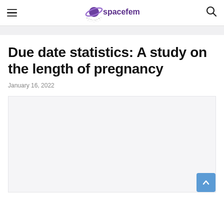spacefem
Due date statistics: A study on the length of pregnancy
January 16, 2022
[Figure (other): Featured image placeholder for the article about due date statistics and length of pregnancy]